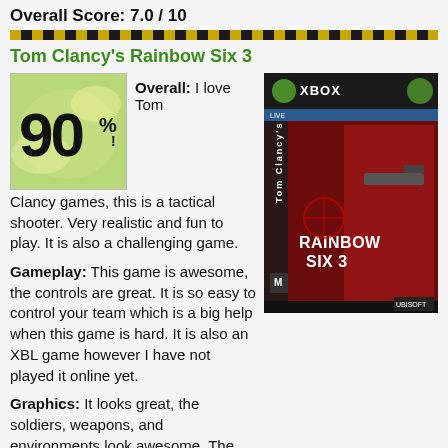Overall Score: 7.0 / 10
Tom Clancy's Rainbow Six 3
[Figure (other): Score badge showing 90% in bold graffiti style text on a splattered colorful background]
Overall: I love Tom Clancy games, this is a tactical shooter. Very realistic and fun to play. It is also a challenging game.
[Figure (photo): Xbox game box art for Tom Clancy's Rainbow Six 3 showing a soldier with a gun on a red and dark background]
Gameplay: This game is awesome, the controls are great. It is so easy to control your team which is a big help when this game is hard. It is also an XBL game however I have not played it online yet.
Graphics: It looks great, the soldiers, weapons, and environments look awesome. The detail put into this game is outrageous.